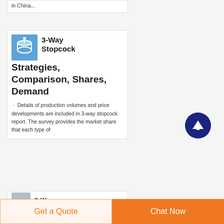in China...
3-Way Stopcock Strategies, Comparison, Shares, Demand
Details of production volumes and price developments are included in 3-way stopcock report. The survey provides the market share that each type of
[Figure (screenshot): Bottom card showing another 3-Way report entry]
Get a Quote
Chat Now